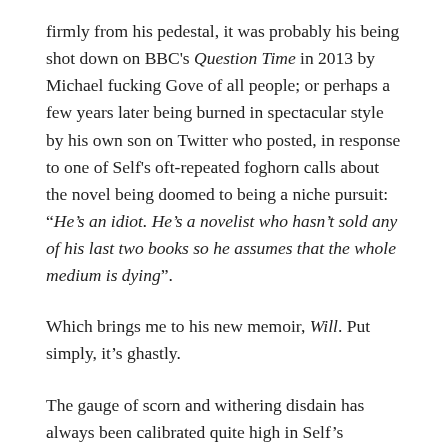firmly from his pedestal, it was probably his being shot down on BBC's Question Time in 2013 by Michael fucking Gove of all people; or perhaps a few years later being burned in spectacular style by his own son on Twitter who posted, in response to one of Self's oft-repeated foghorn calls about the novel being doomed to being a niche pursuit: “He’s an idiot. He’s a novelist who hasn’t sold any of his last two books so he assumes that the whole medium is dying”.
Which brings me to his new memoir, Will. Put simply, it’s ghastly.
The gauge of scorn and withering disdain has always been calibrated quite high in Self’s writing, but here he has dialled it all the way up to eleven. The miserable contempt for himself, the world and everybody else in it, seeps out of every page like the pus from the sores on his arms, which he seems to revel in detailing in different metaphorical flourishes every few pages.